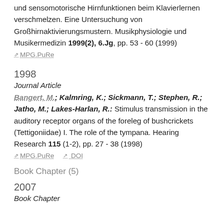und sensomotorische Hirnfunktionen beim Klavierlernen verschmelzen. Eine Untersuchung von Großhirnaktivierungsmustern. Musikphysiologie und Musikermedizin 1999(2), 6.Jg, pp. 53 - 60 (1999)
MPG.PuRe
1998
Journal Article
Bangert, M.; Kalmring, K.; Sickmann, T.; Stephen, R.; Jatho, M.; Lakes-Harlan, R.: Stimulus transmission in the auditory receptor organs of the foreleg of bushcrickets (Tettigoniidae) I. The role of the tympana. Hearing Research 115 (1-2), pp. 27 - 38 (1998)
MPG.PuRe  DOI
Book Chapter (5)
2007
Book Chapter